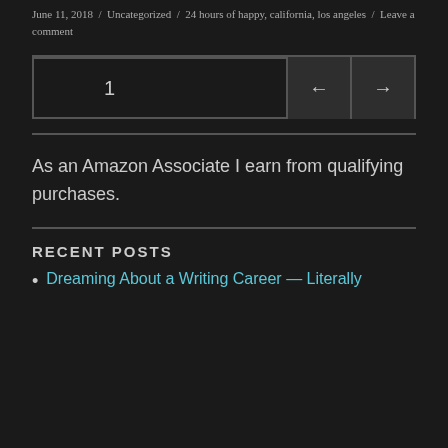June 11, 2018 / Uncategorized / 24 hours of happy, california, los angeles / Leave a comment
1
As an Amazon Associate I earn from qualifying purchases.
RECENT POSTS
Dreaming About a Writing Career — Literally